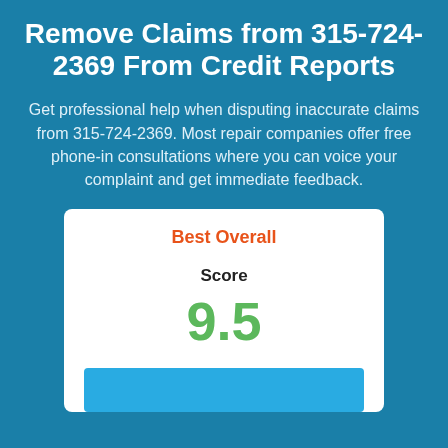Remove Claims from 315-724-2369 From Credit Reports
Get professional help when disputing inaccurate claims from 315-724-2369. Most repair companies offer free phone-in consultations where you can voice your complaint and get immediate feedback.
[Figure (infographic): White card with orange 'Best Overall' label, black 'Score' label, green '9.5' score value, and a blue button partially visible at bottom]